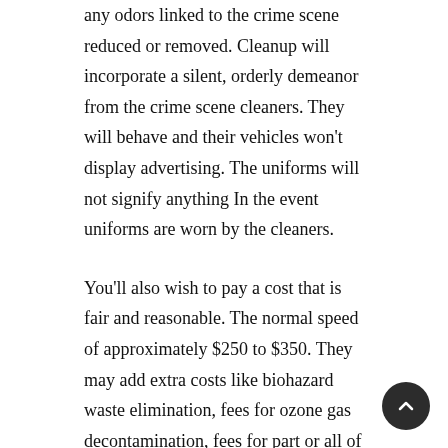any odors linked to the crime scene reduced or removed. Cleanup will incorporate a silent, orderly demeanor from the crime scene cleaners. They will behave and their vehicles won't display advertising. The uniforms will not signify anything In the event uniforms are worn by the cleaners.
You'll also wish to pay a cost that is fair and reasonable. The normal speed of approximately $250 to $350. They may add extra costs like biohazard waste elimination, fees for ozone gas decontamination, fees for part or all of the contaminated region, and a fee for carrying on the job.
The majority of the time, selecting a crime scene cleanup team could somehow decrease the injury. The services offer waste clean up support for deaths